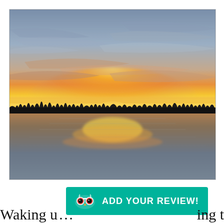[Figure (photo): A sunset over a calm lake. The sky is layered with wispy clouds in shades of blue-grey, pink, and orange, with a bright yellow-orange glow at the horizon where the sun is setting. A dark silhouette of a treeline stretches across the middle. The still water perfectly mirrors the sunset colors and sky.]
[Figure (logo): TripAdvisor green banner with owl logo and text 'ADD YOUR REVIEW!']
Waking u…ing t…